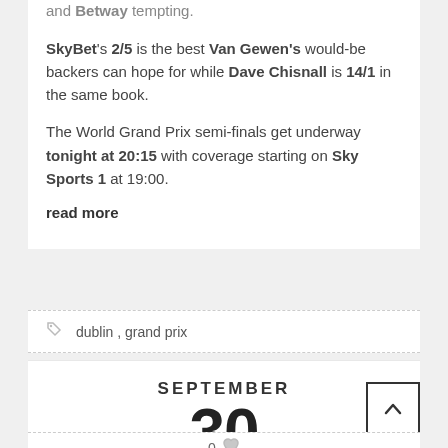and Betway tempting.
SkyBet's 2/5 is the best Van Gewen's would-be backers can hope for while Dave Chisnall is 14/1 in the same book.
The World Grand Prix semi-finals get underway tonight at 20:15 with coverage starting on Sky Sports 1 at 19:00.
read more
dublin , grand prix
SEPTEMBER
30
0